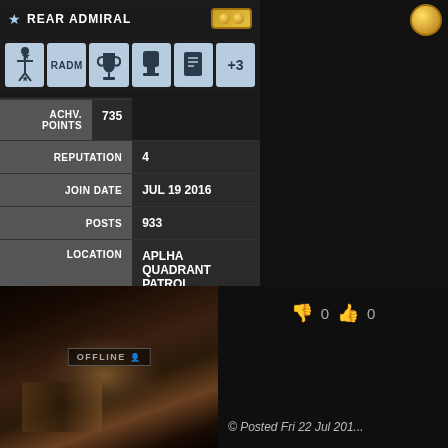REAR ADMIRAL
[Figure (infographic): Profile badge icons row: soldier figure with star, RADM text badge, trophy cup, trophy silhouette, document/list icon, +3 badge]
| Label | Value |
| --- | --- |
| ACHV. POINTS | 735 |
| REPUTATION | 4 |
| JOIN DATE | JUL 19 2016 |
| POSTS | 933 |
| LOCATION | APLHA QUADRANT PATROL |
[Figure (photo): Dark profile avatar image with sci-fi/mechanical elements, OFFLINE badge overlay]
OFFLINE
0  0
© Posted Fri 22 Jul 201...